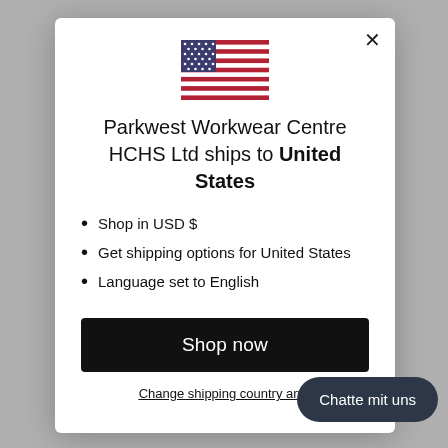[Figure (illustration): US flag SVG icon centered at top of modal dialog]
Parkwest Workwear Centre HCHS Ltd ships to United States
Shop in USD $
Get shipping options for United States
Language set to English
Shop now
Change shipping country an...
Chatte mit uns